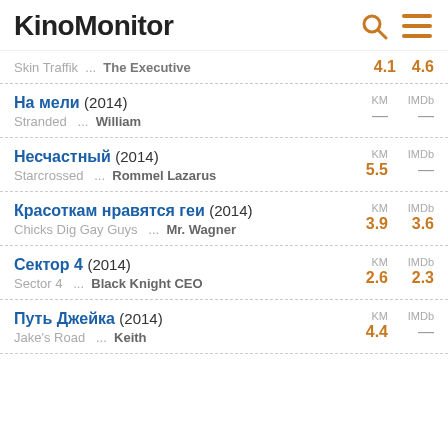KinoMonitor
Skin Traffik ... The Executive | 4.1 | 4.6
На мели (2014) | Stranded ... William | KM — | IMDb —
Несчастный (2014) | Starcrossed ... Rommel Lazarus | KM 5.5 | IMDb —
Красоткам нравятся геи (2014) | Chicks Dig Gay Guys ... Mr. Wagner | KM 3.9 | IMDb 3.6
Сектор 4 (2014) | Sector 4 ... Black Knight CEO | KM 2.6 | IMDb 2.3
Путь Джейка (2014) | Jake's Road ... Keith | KM 4.4 | IMDb —